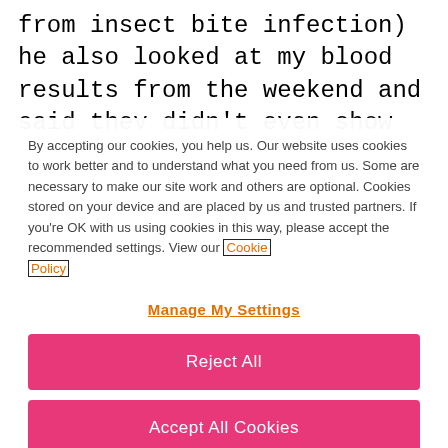from insect bite infection) he also looked at my blood results from the weekend and said they didn't even show an infection so he sent me for a scan. The scan showed the blood clot. Within 20
By accepting our cookies, you help us. Our website uses cookies to work better and to understand what you need from us. Some are necessary to make our site work and others are optional. Cookies stored on your device and are placed by us and trusted partners. If you're OK with us using cookies in this way, please accept the recommended settings. View our Cookie Policy
Manage My Settings
Reject All
Accept All Cookies